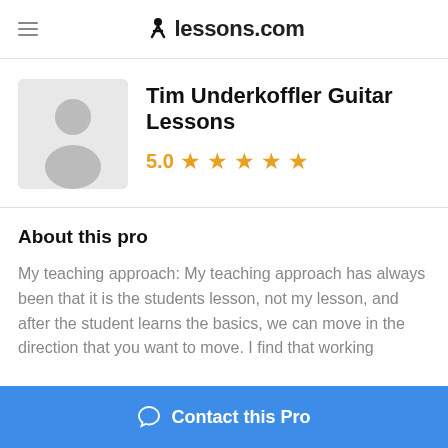lessons.com
Tim Underkoffler Guitar Lessons
5.0 ★★★★★
About this pro
My teaching approach: My teaching approach has always been that it is the students lesson, not my lesson, and after the student learns the basics, we can move in the direction that you want to move. I find that working
Contact this Pro